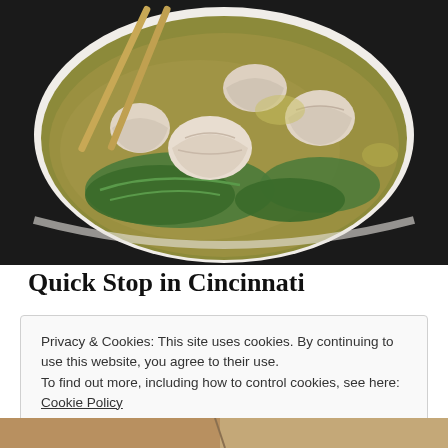[Figure (photo): Overhead close-up photo of a white bowl of wonton soup with chopsticks resting on the rim, showing several dumplings/wontons floating in golden broth with green bok choy leaves]
Quick Stop in Cincinnati
Privacy & Cookies: This site uses cookies. By continuing to use this website, you agree to their use.
To find out more, including how to control cookies, see here: Cookie Policy
Close and accept
[Figure (photo): Partial photo visible at bottom of page, appears to show food items]